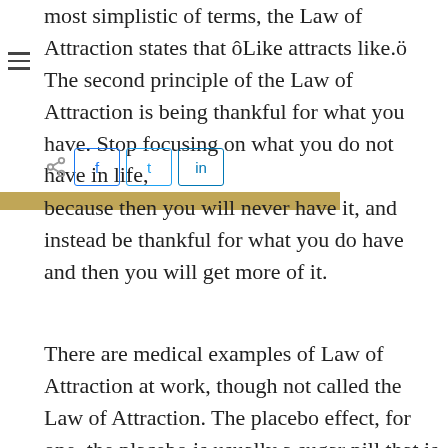most simplistic of terms, the Law of Attraction states that ôLike attracts like.ö The second principle of the Law of Attraction is being thankful for what you have. Stop focusing on what you do not have in life, because then you will never have it, and instead be thankful for what you do have and then you will get more of it.
There are medical examples of Law of Attraction at work, though not called the Law of Attraction. The placebo effect, for one, the placebo is usually a sugar pill that is given to half of the patients in a medical study when they are trying to figure out the effectiveness